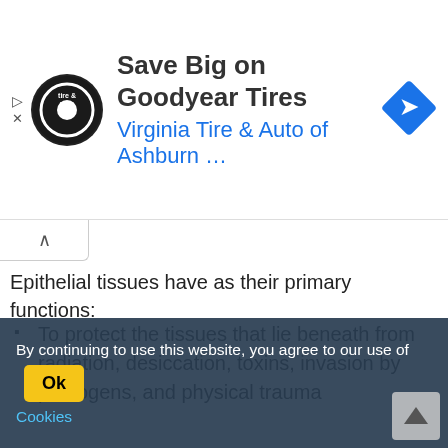[Figure (other): Advertisement banner for Virginia Tire & Auto of Ashburn — Save Big on Goodyear Tires, with company logo and navigation arrow icon]
Epithelial tissues have as their primary functions:
To protect the tissues that lie beneath from radiation, desiccation, toxins, invasion by pathogens, and physical trauma
The regulation and exchange of chemicals between the underlying tissues and a body
The secretion of hormones into the blood vascular system, and/or the secretion of sweat, mucus, enzymes, and other products that are delivered by ducts
By continuing to use this website, you agree to our use of Ok Cookies